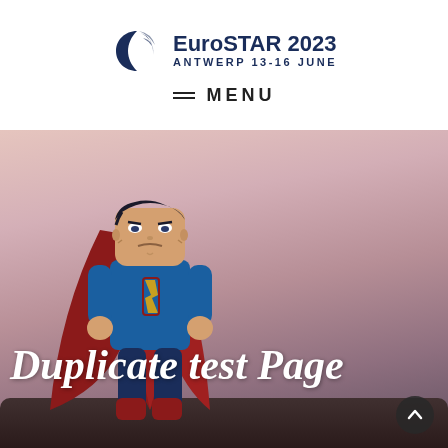[Figure (logo): EuroSTAR 2023 Antwerp 13-16 June logo with crescent moon/star graphic in navy blue]
≡ MENU
[Figure (photo): A LEGO Superman minifigure with a serious expression, wearing blue suit with red cape, standing on a dark rocky surface against a warm pink/purple blurred sky background. Large white bold italic text overlay reads 'Duplicate test Page'.]
Duplicate test Page